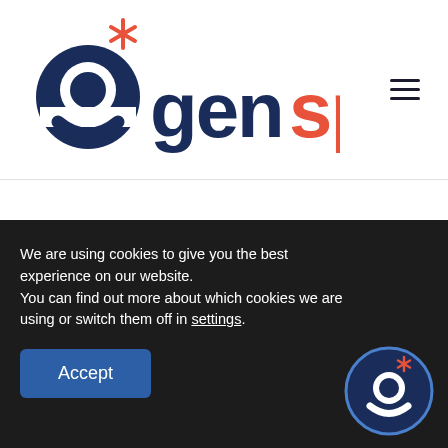[Figure (logo): Genspark logo: dark navy blue 'g' letter mark with a red asterisk/star accent, followed by text 'gen' in dark navy and 'spark' in coral/red color]
[Figure (other): Hamburger menu icon with three horizontal dark lines on the right side of the header]
We are using cookies to give you the best experience on our website.
You can find out more about which cookies we are using or switch them off in settings.
Accept